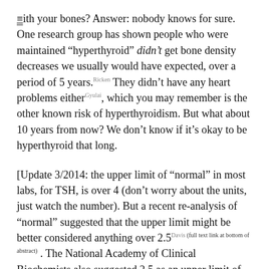ith your bones? Answer: nobody knows for sure. One research group has shown people who were maintained “hyperthyroid” didn’t get bone density decreases we usually would have expected, over a period of 5 years.Ricken They didn’t have any heart problems eitherGyulai, which you may remember is the other known risk of hyperthyroidism. But what about 10 years from now? We don’t know if it’s okay to be hyperthyroid that long.
[Update 3/2014: the upper limit of “normal” in most labs, for TSH, is over 4 (don’t worry about the units, just watch the number). But a recent re-analysis of “normal” suggested that the upper limit might be better considered anything over 2.5Davis (full text link at bottom of abstract) . The National Academy of Clinical Biochemists also suggested 2.5 as an upper limit of normal (as cited in this review by the American Association of Clinical Endocrinologists, a 200-slot full